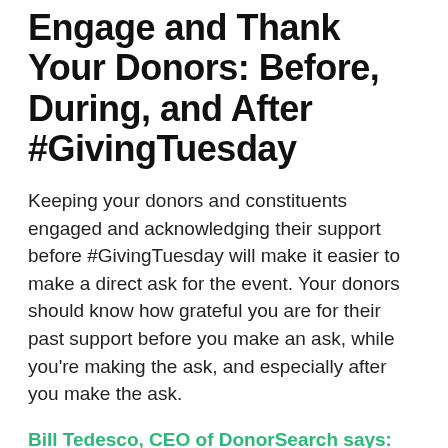Engage and Thank Your Donors: Before, During, and After #GivingTuesday
Keeping your donors and constituents engaged and acknowledging their support before #GivingTuesday will make it easier to make a direct ask for the event. Your donors should know how grateful you are for their past support before you make an ask, while you're making the ask, and especially after you make the ask.
Bill Tedesco, CEO of DonorSearch says: "After #GivingTuesday, evaluate your list of new donors to determine if any of them could be prospects for a larger gift in the future. Performing prospect research on new donors is a great way to identify donors that have given large donations to other